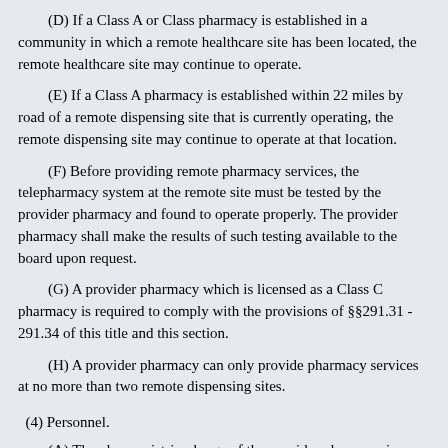(D) If a Class A or Class pharmacy is established in a community in which a remote healthcare site has been located, the remote healthcare site may continue to operate.
(E) If a Class A pharmacy is established within 22 miles by road of a remote dispensing site that is currently operating, the remote dispensing site may continue to operate at that location.
(F) Before providing remote pharmacy services, the telepharmacy system at the remote site must be tested by the provider pharmacy and found to operate properly. The provider pharmacy shall make the results of such testing available to the board upon request.
(G) A provider pharmacy which is licensed as a Class C pharmacy is required to comply with the provisions of §§291.31 - 291.34 of this title and this section.
(H) A provider pharmacy can only provide pharmacy services at no more than two remote dispensing sites.
(4) Personnel.
(A) The pharmacist-in-charge of the provider pharmacy is responsible for all operations at the remote site including